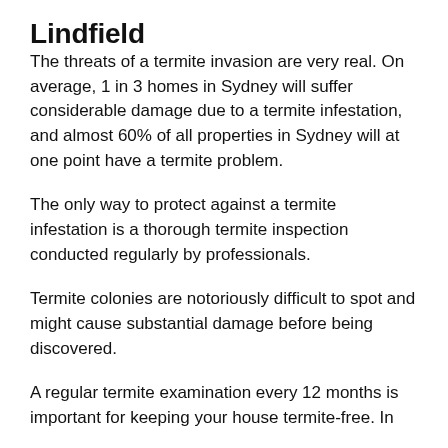Lindfield
The threats of a termite invasion are very real. On average, 1 in 3 homes in Sydney will suffer considerable damage due to a termite infestation, and almost 60% of all properties in Sydney will at one point have a termite problem.
The only way to protect against a termite infestation is a thorough termite inspection conducted regularly by professionals.
Termite colonies are notoriously difficult to spot and might cause substantial damage before being discovered.
A regular termite examination every 12 months is important for keeping your house termite-free. In